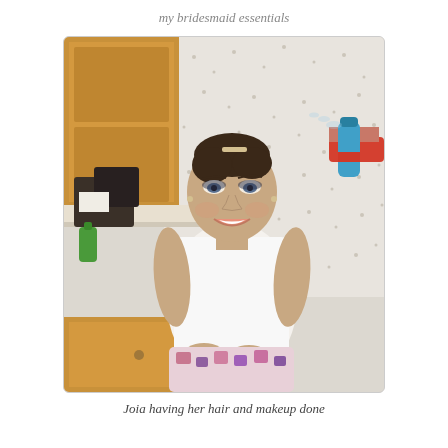my bridesmaid essentials
[Figure (photo): A young woman sitting and smiling while having her hair sprayed. She is wearing a white tank top and patterned shorts. Behind her is a vanity area with wooden cabinets and a floral wallpaper. An arm from the right holds a blue hair spray can near her head.]
Joia having her hair and makeup done